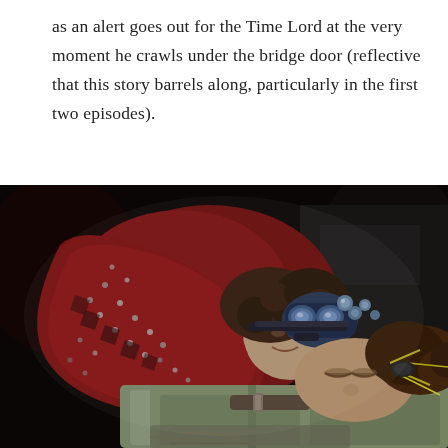as an alert goes out for the Time Lord at the very moment he crawls under the bridge door (reflective that this story barrels along, particularly in the first two episodes).
[Figure (photo): A television still showing two figures: one person in a red bejewelled outfit with metallic goggles/headgear leaning over another person who is lying on the ground in light green/khaki clothing with eyes closed, appearing unconscious. The scene is dimly lit with a dark background.]